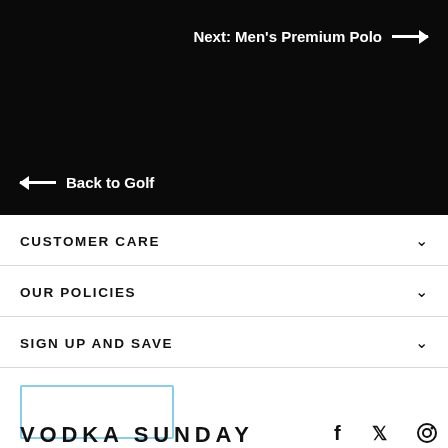Next: Men's Premium Polo →
← Back to Golf
CUSTOMER CARE
OUR POLICIES
SIGN UP AND SAVE
[Figure (logo): Vodka Sunday brand logo in light blue border box]
VODKA SUNDAY